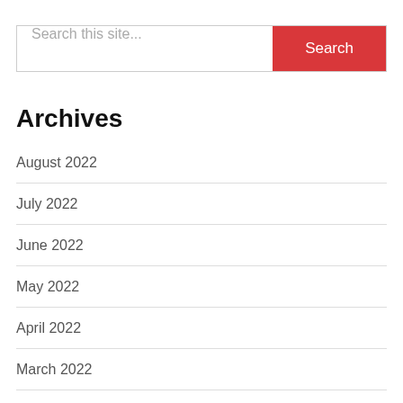[Figure (other): Search bar with text input placeholder 'Search this site...' and a red 'Search' button]
Archives
August 2022
July 2022
June 2022
May 2022
April 2022
March 2022
December 2021
October 2021